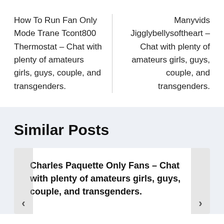How To Run Fan Only Mode Trane Tcont800 Thermostat – Chat with plenty of amateurs girls, guys, couple, and transgenders.
Manyvids Jigglybellysoftheart – Chat with plenty of amateurs girls, guys, couple, and transgenders.
Similar Posts
Charles Paquette Only Fans – Chat with plenty of amateurs girls, guys, couple, and transgenders.